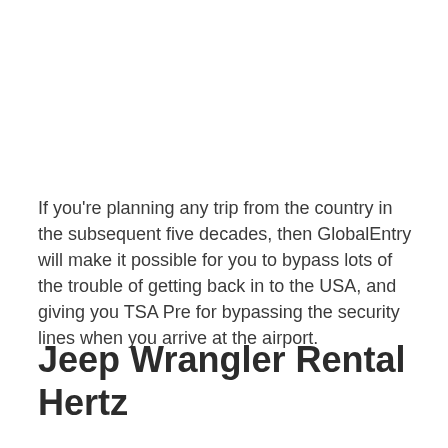If you're planning any trip from the country in the subsequent five decades, then GlobalEntry will make it possible for you to bypass lots of the trouble of getting back in to the USA, and giving you TSA Pre for bypassing the security lines when you arrive at the airport.
Jeep Wrangler Rental Hertz